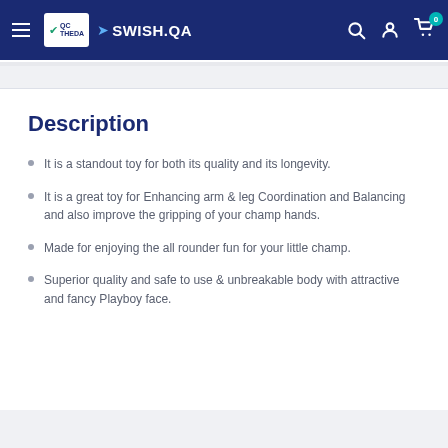SWISH.QA navigation bar with hamburger menu, logo, search, account, and cart icons
Description
It is a standout toy for both its quality and its longevity.
It is a great toy for Enhancing arm & leg Coordination and Balancing and also improve the gripping of your champ hands.
Made for enjoying the all rounder fun for your little champ.
Superior quality and safe to use & unbreakable body with attractive and fancy Playboy face.